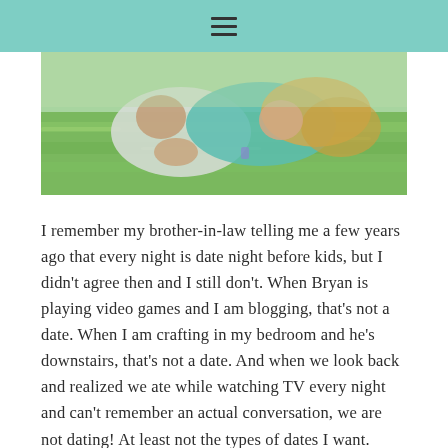≡
[Figure (photo): A couple lying on green grass, the man in a light shirt with hands clasped and the woman in a teal top with long blonde hair, photographed from above.]
I remember my brother-in-law telling me a few years ago that every night is date night before kids, but I didn't agree then and I still don't. When Bryan is playing video games and I am blogging, that's not a date. When I am crafting in my bedroom and he's downstairs, that's not a date. And when we look back and realized we ate while watching TV every night and can't remember an actual conversation, we are not dating! At least not the types of dates I want.